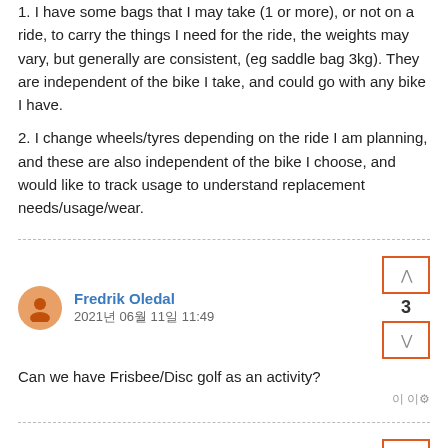1. I have some bags that I may take (1 or more), or not on a ride, to carry the things I need for the ride, the weights may vary, but generally are consistent, (eg saddle bag 3kg). They are independent of the bike I take, and could go with any bike I have.
2. I change wheels/tyres depending on the ride I am planning, and these are also independent of the bike I choose, and would like to track usage to understand replacement needs/usage/wear.
Fredrik Oledal
2021년 06월 11일 11:49
Can we have Frisbee/Disc golf as an activity?
Jakub Paliesek
2021년 06월 11일 14:14
When adding gear in settings, users are able to specify bike type (road, cross, etc.)
I'd like to propose adding further filtering of activities in global heatmap (and in route planner) not only by activity type, but also by